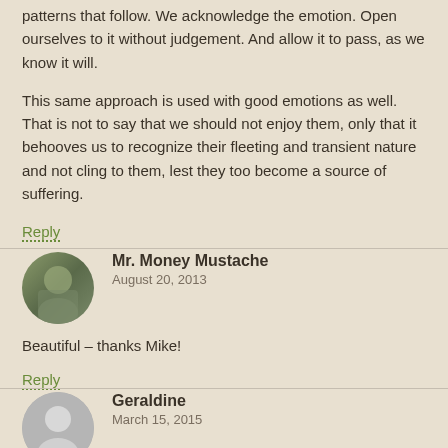patterns that follow. We acknowledge the emotion. Open ourselves to it without judgement. And allow it to pass, as we know it will.
This same approach is used with good emotions as well. That is not to say that we should not enjoy them, only that it behooves us to recognize their fleeting and transient nature and not cling to them, lest they too become a source of suffering.
Reply
Mr. Money Mustache
August 20, 2013
Beautiful – thanks Mike!
Reply
Geraldine
March 15, 2015
Exactly. And again you can find a modern version of this thought in the work of Viktor Frankl, who said that the time lapse between the emotionally driven impulse and the actual action is the human free will